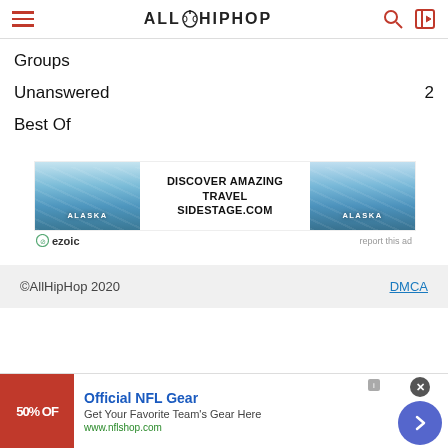AllHipHop
Groups
Unanswered  2
Best Of
[Figure (illustration): Advertisement banner: DISCOVER AMAZING TRAVEL SIDESTAGE.COM with Alaska glacier images on left and right, ezoic logo below left, 'report this ad' below right]
©AllHipHop 2020   DMCA
[Figure (illustration): Bottom advertisement strip: Official NFL Gear - Get Your Favorite Team's Gear Here - www.nflshop.com, with red 50% OFF banner image on left and navigation arrow on right]